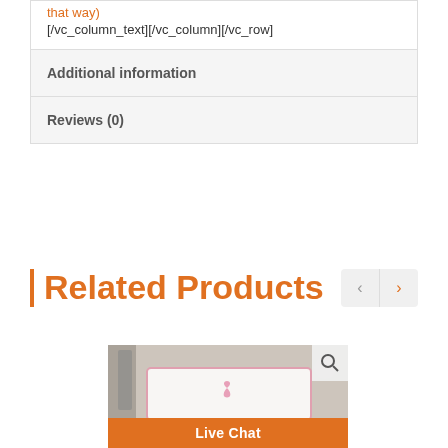that way) [/vc_column_text][/vc_column][/vc_row]
Additional information
Reviews (0)
Related Products
[Figure (photo): Product photo of a white cosmetic pouch with a pink breast cancer awareness ribbon, shown on a bathroom counter with various accessories. A magnifying glass icon is in the top right corner. A Live Chat orange button overlays the bottom.]